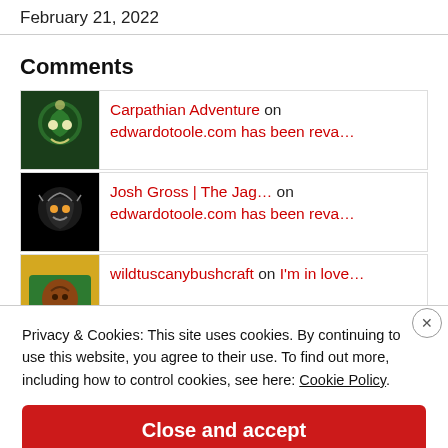February 21, 2022
Comments
Carpathian Adventure on edwardotoole.com has been reva...
Josh Gross | The Jag... on edwardotoole.com has been reva...
wildtuscanybushcraft on I'm in love...
Privacy & Cookies: This site uses cookies. By continuing to use this website, you agree to their use. To find out more, including how to control cookies, see here: Cookie Policy
Close and accept